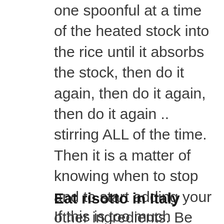one spoonful at a time of the heated stock into the rice until it absorbs the stock, then do it again, then do it again, then do it again .. stirring ALL of the time. Then it is a matter of knowing when to stop and to start adding your other ingredients. Be aware that if anything has to be cooked to be added to the risotto – offal, do it before because you cannot leave the risotto ever.
Eat risotto in Italy
If this is too much trouble, then